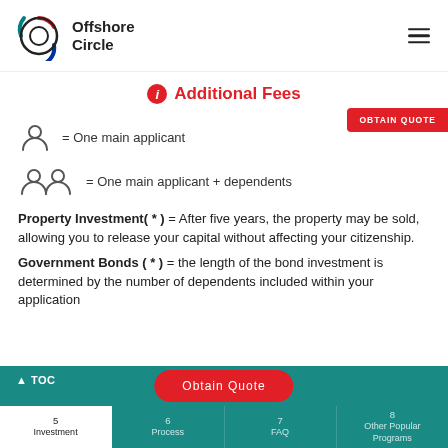Offshore Circle
Additional Fees
= One main applicant
= One main applicant + dependents
Property Investment( * ) = After five years, the property may be sold, allowing you to release your capital without affecting your citizenship.
Government Bonds ( * ) = the length of the bond investment is determined by the number of dependents included within your application
^ TOC | Obtain Quote | 5 Investment | 6 Process | 7 FAQ | 8 Other Popular Programs